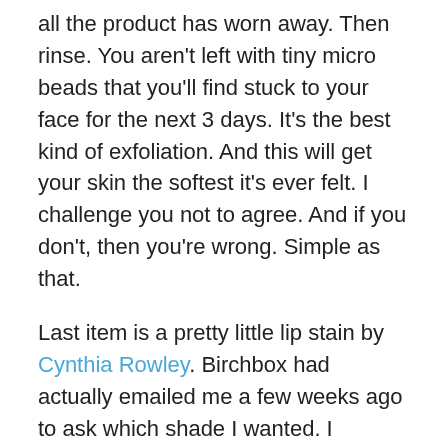all the product has worn away. Then rinse. You aren't left with tiny micro beads that you'll find stuck to your face for the next 3 days. It's the best kind of exfoliation. And this will get your skin the softest it's ever felt. I challenge you not to agree. And if you don't, then you're wrong. Simple as that.
Last item is a pretty little lip stain by Cynthia Rowley. Birchbox had actually emailed me a few weeks ago to ask which shade I wanted. I thought that was a nice touch, and hopefully they will continue to do this. I chose a pink nude called Sugar and it is the perfect color for me. And these lip stains are not drying at all. They went on wet and after an hour I was still able to feel the creaminess of the product on my lips. The staining power, however, wasn't miraculous or anything. Although I switch up my lip color so much during the day, I'm not even mad about it. But just